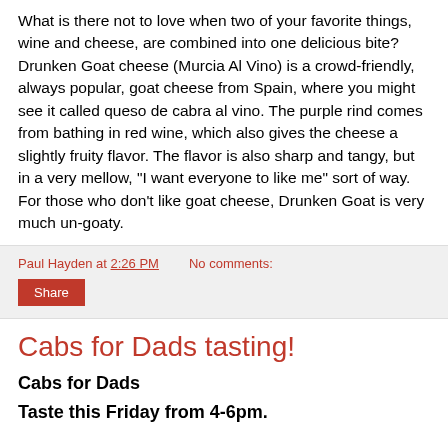What is there not to love when two of your favorite things, wine and cheese, are combined into one delicious bite? Drunken Goat cheese (Murcia Al Vino) is a crowd-friendly, always popular, goat cheese from Spain, where you might see it called queso de cabra al vino. The purple rind comes from bathing in red wine, which also gives the cheese a slightly fruity flavor. The flavor is also sharp and tangy, but in a very mellow, "I want everyone to like me" sort of way. For those who don't like goat cheese, Drunken Goat is very much un-goaty.
Paul Hayden at 2:26 PM   No comments:
Share
Cabs for Dads tasting!
Cabs for Dads
Taste this Friday from 4-6pm.